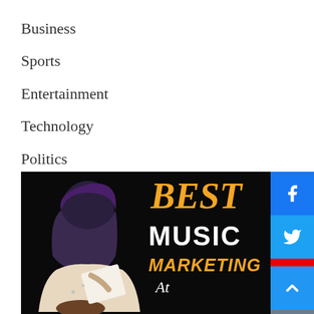Business
Sports
Entertainment
Technology
Politics
[Figure (illustration): Hero image with a woman writing/playing guitar on black background, with text overlay reading BEST MUSIC MARKETING At...]
[Figure (infographic): Social media sidebar buttons: Facebook (blue), Twitter (blue), YouTube (red), Instagram (grey), scroll-to-top arrow (blue)]